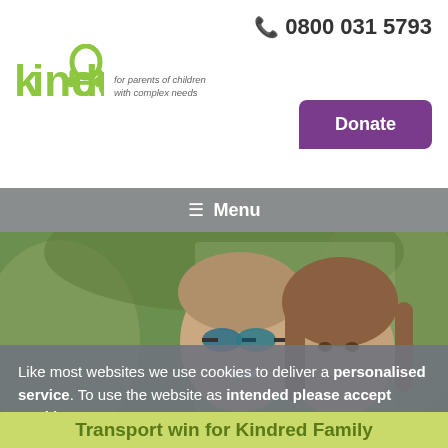📞 0800 031 5793
[Figure (logo): Kindred logo with tagline 'for parents of children with complex needs']
Donate
≡ Menu
[Figure (photo): Two people smiling outdoors, one wearing sunglasses, surrounded by green trees]
Like most websites we use cookies to deliver a personalised service. To use the website as intended please accept cookies.
Accept Cookies
Transport win for Kindred Family